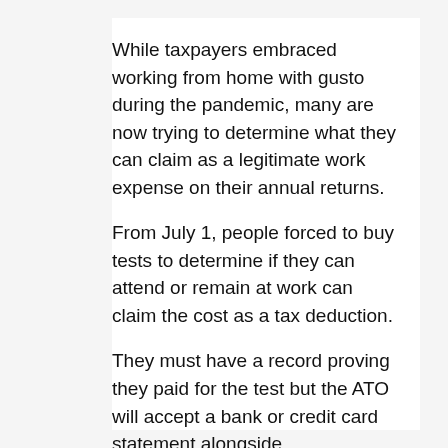While taxpayers embraced working from home with gusto during the pandemic, many are now trying to determine what they can claim as a legitimate work expense on their annual returns.
From July 1, people forced to buy tests to determine if they can attend or remain at work can claim the cost as a tax deduction.
They must have a record proving they paid for the test but the ATO will accept a bank or credit card statement alongside documentation from employers as evidence.
The ATO says employees cannot claim for tests supplied by employers or where the cost was reimbursed.
Only tests required for work-related purposes are deductible.